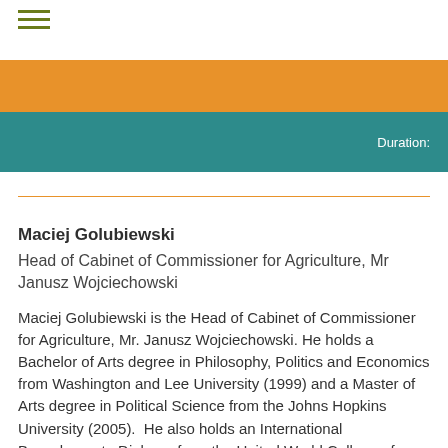Duration:
Maciej Golubiewski
Head of Cabinet of Commissioner for Agriculture, Mr Janusz Wojciechowski
Maciej Golubiewski is the Head of Cabinet of Commissioner for Agriculture, Mr. Janusz Wojciechowski. He holds a Bachelor of Arts degree in Philosophy, Politics and Economics from Washington and Lee University (1999) and a Master of Arts degree in Political Science from the Johns Hopkins University (2005).  He also holds an International Baccalaureate Diploma from the United World College of